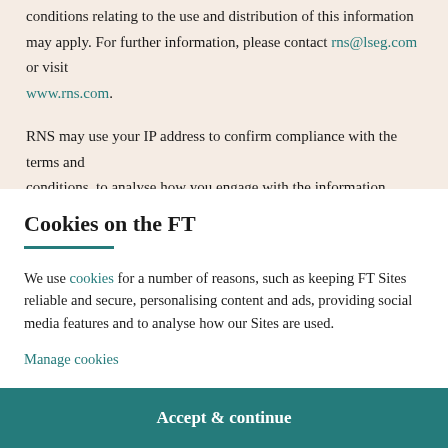conditions relating to the use and distribution of this information may apply. For further information, please contact rns@lseg.com or visit www.rns.com.
RNS may use your IP address to confirm compliance with the terms and conditions, to analyse how you engage with the information contained in
Cookies on the FT
We use cookies for a number of reasons, such as keeping FT Sites reliable and secure, personalising content and ads, providing social media features and to analyse how our Sites are used.
Manage cookies
Accept & continue